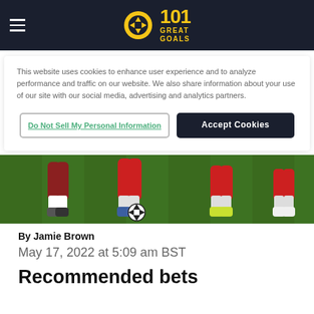101 Great Goals
This website uses cookies to enhance user experience and to analyze performance and traffic on our website. We also share information about your use of our site with our social media, advertising and analytics partners.
Do Not Sell My Personal Information | Accept Cookies
[Figure (photo): Soccer players on a green field, close-up of feet and a soccer ball]
By Jamie Brown
May 17, 2022 at 5:09 am BST
Recommended bets